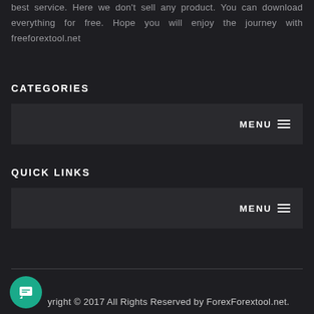best service. Here we don't sell any product. You can download everything for free. Hope you will enjoy the journey with freeforextool.net
CATEGORIES
[Figure (screenshot): A dark navigation menu box with MENU label and hamburger icon on the right side, under the CATEGORIES section header]
QUICK LINKS
[Figure (screenshot): A dark navigation menu box with MENU label and hamburger icon on the right side, under the QUICK LINKS section header]
Copyright © 2017 All Rights Reserved by ForexForextool.net.